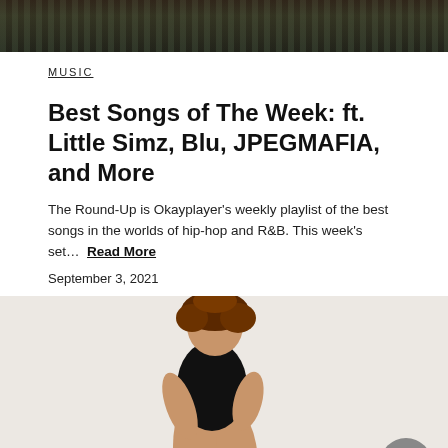[Figure (photo): Cropped photo at top of page showing people at what appears to be a concert or event, dark tones with colorful patterns]
MUSIC
Best Songs of The Week: ft. Little Simz, Blu, JPEGMAFIA, and More
The Round-Up is Okayplayer's weekly playlist of the best songs in the worlds of hip-hop and R&B. This week's set… Read More
September 3, 2021
[Figure (photo): Woman with curly hair wearing a black outfit and black sandals, posed with one leg raised, against a light background]